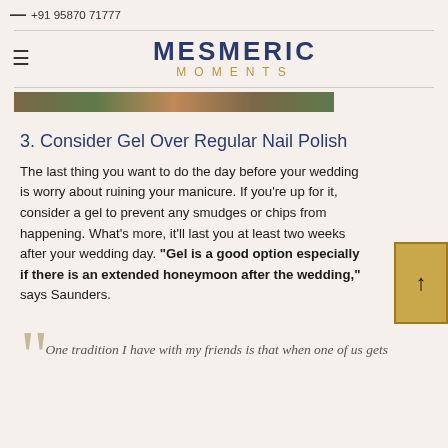— +91 95870 71777
MESMERIC MOMENTS
[Figure (photo): Cropped bottom portion of a photograph showing colorful elements, partially visible at the top of the content area.]
3. Consider Gel Over Regular Nail Polish
The last thing you want to do the day before your wedding is worry about ruining your manicure. If you're up for it, consider a gel to prevent any smudges or chips from happening. What's more, it'll last you at least two weeks after your wedding day. "Gel is a good option especially if there is an extended honeymoon after the wedding," says Saunders.
One tradition I have with my friends is that when one of us gets